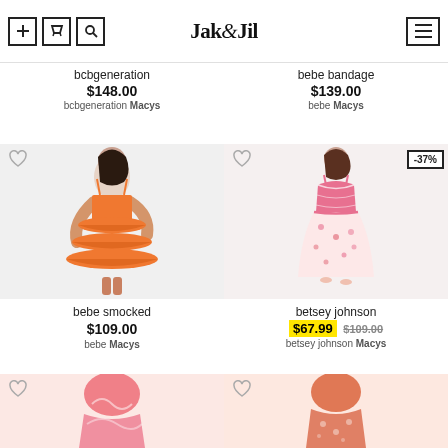Jak & Jil
bcbgeneration
$148.00
bcbgeneration Macys
bebe bandage
$139.00
bebe Macys
[Figure (photo): Woman wearing orange ruffled spaghetti-strap mini dress]
bebe smocked
$109.00
bebe Macys
[Figure (photo): Woman wearing pink floral midi dress with pink corset top, -37% discount badge]
betsey johnson
$67.99 $109.00
betsey johnson Macys
[Figure (photo): Woman wearing pink/orange swirl print dress, partially visible at bottom]
[Figure (photo): Woman wearing coral floral print dress, partially visible at bottom]